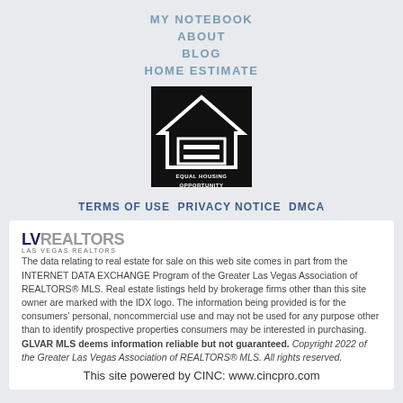MY NOTEBOOK
ABOUT
BLOG
HOME ESTIMATE
[Figure (logo): Equal Housing Opportunity logo — white house icon with equal sign on black background, text reads EQUAL HOUSING OPPORTUNITY]
TERMS OF USE  PRIVACY NOTICE  DMCA
The data relating to real estate for sale on this web site comes in part from the INTERNET DATA EXCHANGE Program of the Greater Las Vegas Association of REALTORS® MLS. Real estate listings held by brokerage firms other than this site owner are marked with the IDX logo. The information being provided is for the consumers' personal, noncommercial use and may not be used for any purpose other than to identify prospective properties consumers may be interested in purchasing. GLVAR MLS deems information reliable but not guaranteed. Copyright 2022 of the Greater Las Vegas Association of REALTORS® MLS. All rights reserved.
This site powered by CINC: www.cincpro.com